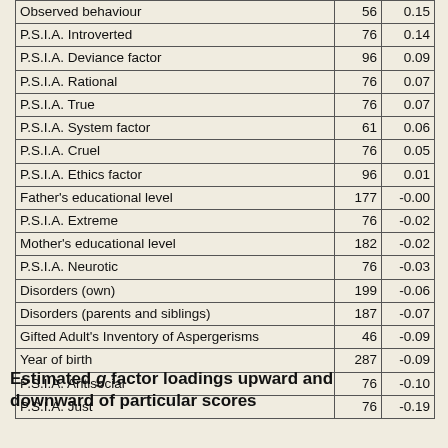|  | N | r |
| --- | --- | --- |
| Observed behaviour | 56 | 0.15 |
| P.S.I.A. Introverted | 76 | 0.14 |
| P.S.I.A. Deviance factor | 96 | 0.09 |
| P.S.I.A. Rational | 76 | 0.07 |
| P.S.I.A. True | 76 | 0.07 |
| P.S.I.A. System factor | 61 | 0.06 |
| P.S.I.A. Cruel | 76 | 0.05 |
| P.S.I.A. Ethics factor | 96 | 0.01 |
| Father's educational level | 177 | -0.00 |
| P.S.I.A. Extreme | 76 | -0.02 |
| Mother's educational level | 182 | -0.02 |
| P.S.I.A. Neurotic | 76 | -0.03 |
| Disorders (own) | 199 | -0.06 |
| Disorders (parents and siblings) | 187 | -0.07 |
| Gifted Adult's Inventory of Aspergerisms | 46 | -0.09 |
| Year of birth | 287 | -0.09 |
| P.S.I.A. Antisocial | 76 | -0.10 |
| P.S.I.A. Just | 76 | -0.19 |
Estimated g factor loadings upward and downward of particular scores